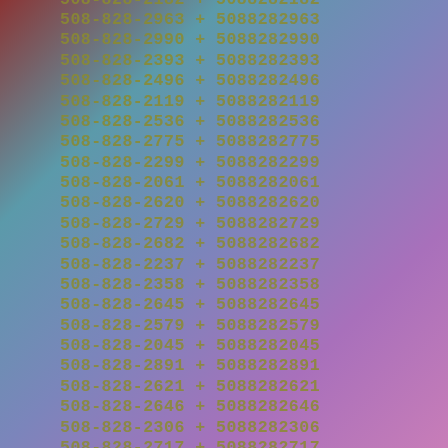508-828-2182 + 5088282182
508-828-2963 + 5088282963
508-828-2990 + 5088282990
508-828-2393 + 5088282393
508-828-2496 + 5088282496
508-828-2119 + 5088282119
508-828-2536 + 5088282536
508-828-2775 + 5088282775
508-828-2299 + 5088282299
508-828-2061 + 5088282061
508-828-2620 + 5088282620
508-828-2729 + 5088282729
508-828-2682 + 5088282682
508-828-2237 + 5088282237
508-828-2358 + 5088282358
508-828-2645 + 5088282645
508-828-2579 + 5088282579
508-828-2045 + 5088282045
508-828-2891 + 5088282891
508-828-2621 + 5088282621
508-828-2646 + 5088282646
508-828-2306 + 5088282306
508-828-2717 + 5088282717